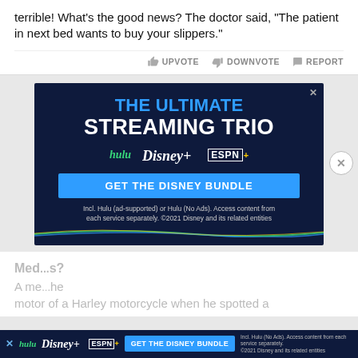terrible! What's the good news? The doctor said, "The patient in next bed wants to buy your slippers."
UPVOTE  DOWNVOTE  REPORT
[Figure (infographic): Disney Bundle advertisement: 'THE ULTIMATE STREAMING TRIO' with Hulu, Disney+, ESPN+ logos and 'GET THE DISNEY BUNDLE' button. Fine print: Incl. Hulu (ad-supported) or Hulu (No Ads). Access content from each service separately. ©2021 Disney and its related entities]
Med...s? A me...he motor of a Harley motorcycle when he spotted a
[Figure (infographic): Small sticky Disney Bundle ad with Hulu, Disney+, ESPN+ logos and GET THE DISNEY BUNDLE button]